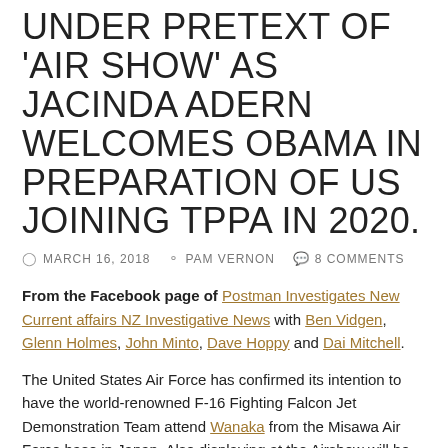UNDER PRETEXT OF 'AIR SHOW' AS JACINDA ADERN WELCOMES OBAMA IN PREPARATION OF US JOINING TPPA IN 2020.
MARCH 16, 2018   PAM VERNON   8 COMMENTS
From the Facebook page of Postman Investigates New Current affairs NZ Investigative News with Ben Vidgen, Glenn Holmes, John Minto, Dave Hoppy and Dai Mitchell.
The United States Air Force has confirmed its intention to have the world-renowned F-16 Fighting Falcon Jet Demonstration Team attend Wanaka from the Misawa Air Force base in Japan. Also displaying at the Airshow will be the C-17 Globemaster Demonstration Team out of Hawaii. Both